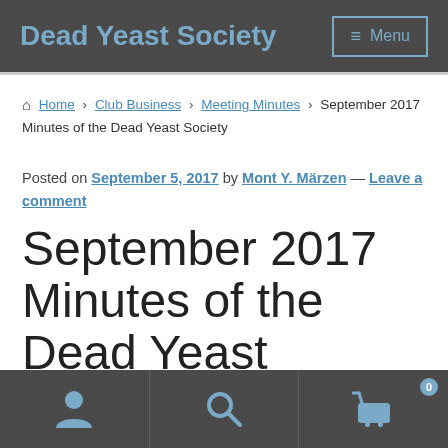Dead Yeast Society  ≡ Menu
🏠 Home › Club Business › Meeting Minutes › September 2017 Minutes of the Dead Yeast Society
Posted on September 5, 2017 by Mont Y. Märzen — Leave a comment
September 2017 Minutes of the Dead Yeast Society
[user icon] [search icon] [cart icon 0]